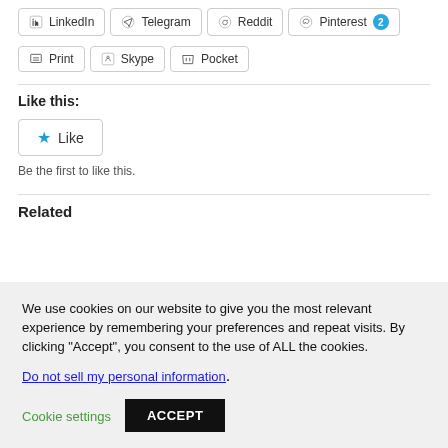LinkedIn
Telegram
Reddit
Pinterest 2
Print
Skype
Pocket
Like this:
Like
Be the first to like this.
Related
We use cookies on our website to give you the most relevant experience by remembering your preferences and repeat visits. By clicking “Accept”, you consent to the use of ALL the cookies.
Do not sell my personal information.
Cookie settings
ACCEPT